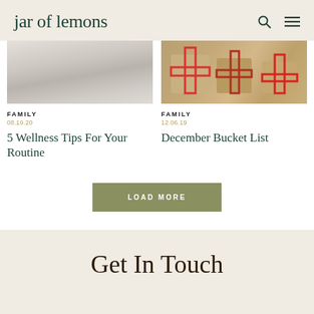jar of lemons
[Figure (photo): Grey linen/fabric texture, partially cropped from top]
[Figure (photo): Wrapped Christmas gifts with red and white twine ribbons, stacked]
FAMILY
08.19.20
5 Wellness Tips For Your Routine
FAMILY
12.06.19
December Bucket List
LOAD MORE
Get In Touch